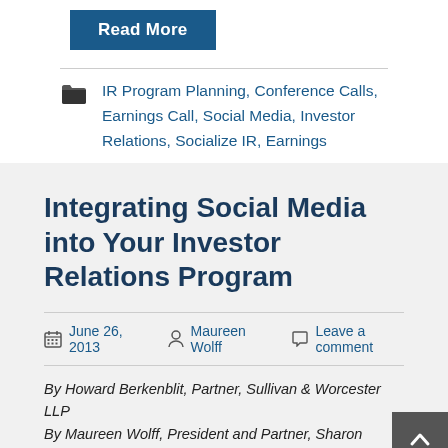Read More
IR Program Planning, Conference Calls, Earnings Call, Social Media, Investor Relations, Socialize IR, Earnings
Integrating Social Media into Your Investor Relations Program
June 26, 2013   Maureen Wolff   Leave a comment
By Howard Berkenblit, Partner, Sullivan & Worcester LLP
By Maureen Wolff, President and Partner, Sharon Merrill Associates
As a company, how should the SEC be stated the standard...